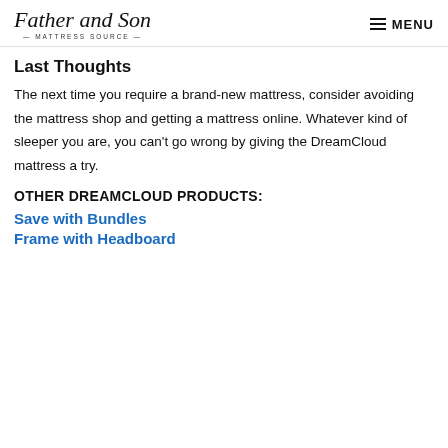Father and Son MATTRESS SOURCE — MENU
Last Thoughts
The next time you require a brand-new mattress, consider avoiding the mattress shop and getting a mattress online. Whatever kind of sleeper you are, you can't go wrong by giving the DreamCloud mattress a try.
OTHER DREAMCLOUD PRODUCTS:
Save with Bundles
Frame with Headboard